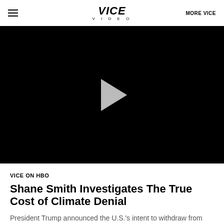VICE VIDEO  MORE VICE
[Figure (screenshot): Black video player with a gray play button triangle in the center]
VICE ON HBO
Shane Smith Investigates The True Cost of Climate Denial
President Trump announced the U.S.'s intent to withdraw from the landmark Paris climate agreement, what many said was